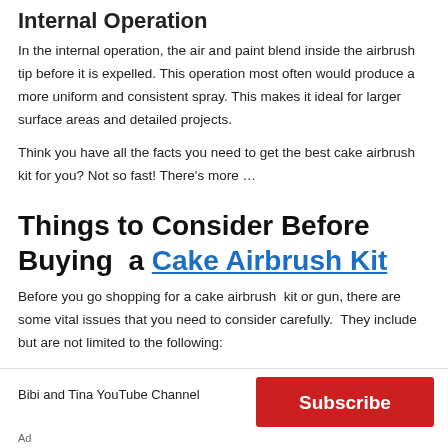Internal Operation
In the internal operation, the air and paint blend inside the airbrush tip before it is expelled. This operation most often would produce a more uniform and consistent spray. This makes it ideal for larger surface areas and detailed projects.
Think you have all the facts you need to get the best cake airbrush kit for you? Not so fast! There's more …
Things to Consider Before Buying  a Cake Airbrush Kit
Before you go shopping for a cake airbrush  kit or gun, there are some vital issues that you need to consider carefully.  They include but are not limited to the following:
[Figure (other): Advertisement banner: Bibi and Tina YouTube Channel with a red Subscribe button and ad icons]